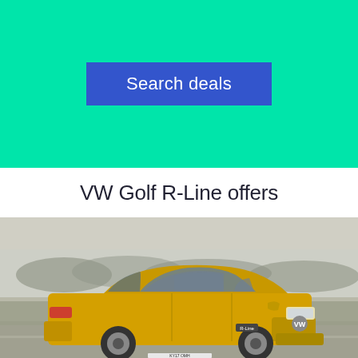[Figure (screenshot): Green/teal banner background with a blue 'Search deals' button centered on it]
VW Golf R-Line offers
[Figure (photo): A yellow VW Golf R-Line car driving on a road with a misty countryside background. UK license plate KY17 OMH visible at the bottom.]